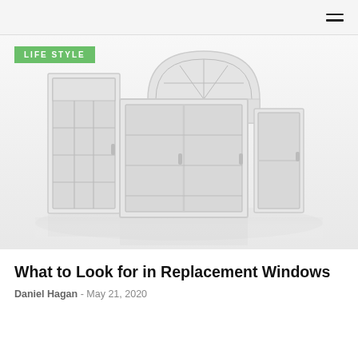≡
[Figure (photo): Multiple white PVC/vinyl replacement windows of different styles (casement, transom, arched) arranged in a group on a white background, with reflections on the floor surface. A 'LIFE STYLE' green badge overlays the top-left of the image.]
What to Look for in Replacement Windows
Daniel Hagan - May 21, 2020